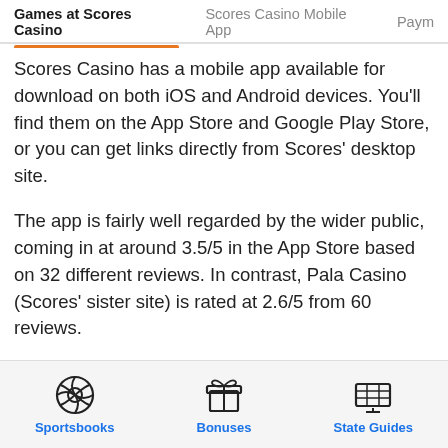Games at Scores Casino | Scores Casino Mobile App | Paym
Scores Casino has a mobile app available for download on both iOS and Android devices. You'll find them on the App Store and Google Play Store, or you can get links directly from Scores' desktop site.
The app is fairly well regarded by the wider public, coming in at around 3.5/5 in the App Store based on 32 different reviews. In contrast, Pala Casino (Scores' sister site) is rated at 2.6/5 from 60 reviews.
From our perspective, the app worked very well during our Scores mobile review. It gives you access to everything you can find on the desktop site, and if you prefer not to download an app you can always access the site via your
Sportsbooks | Bonuses | State Guides